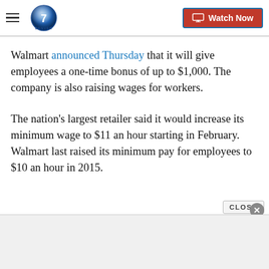Denver7 | Watch Now
Walmart announced Thursday that it will give employees a one-time bonus of up to $1,000. The company is also raising wages for workers.
The nation's largest retailer said it would increase its minimum wage to $11 an hour starting in February. Walmart last raised its minimum pay for employees to $10 an hour in 2015.